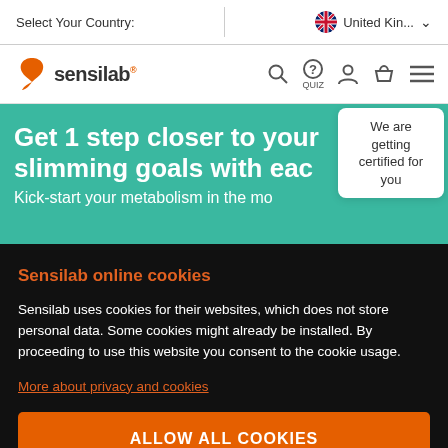Select Your Country: | United Kin... ∨
[Figure (logo): Sensilab logo with orange butterfly/leaf icon and navigation icons (search, quiz, user, basket, menu)]
Get 1 step closer to your slimming goals with eac...
Kick-start your metabolism in the mo...
[Figure (other): White rounded badge reading: We are getting certified for you]
Sensilab online cookies
Sensilab uses cookies for their websites, which does not store personal data. Some cookies might already be installed. By proceeding to use this website you consent to the cookie usage.
More about privacy and cookies
ALLOW ALL COOKIES